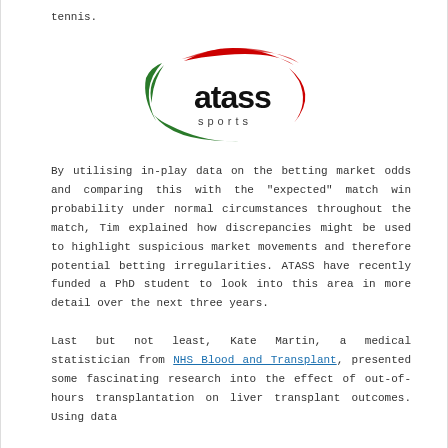tennis.
[Figure (logo): ATASS Sports logo — oval swoosh in green and red with bold black text 'atass' and smaller text 'sports' underneath]
By utilising in-play data on the betting market odds and comparing this with the "expected" match win probability under normal circumstances throughout the match, Tim explained how discrepancies might be used to highlight suspicious market movements and therefore potential betting irregularities. ATASS have recently funded a PhD student to look into this area in more detail over the next three years.
Last but not least, Kate Martin, a medical statistician from NHS Blood and Transplant, presented some fascinating research into the effect of out-of-hours transplantation on liver transplant outcomes. Using data